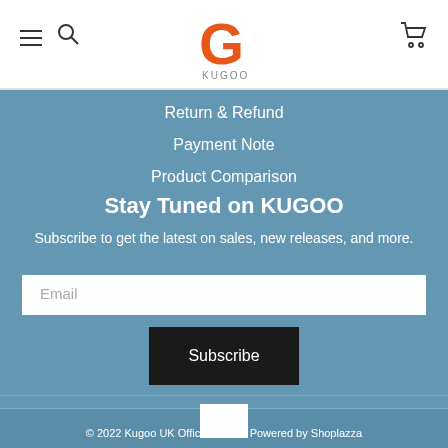KUGOO header with hamburger menu, search, logo, and cart
Return & Refund
Payment Note
Product Comparison
Stay Tuned on KUGOO
Subscribe to get the latest on sales, new releases, and more.
Email
Subscribe
© 2022 Kugoo UK Official Store  Powered by Shoplazza